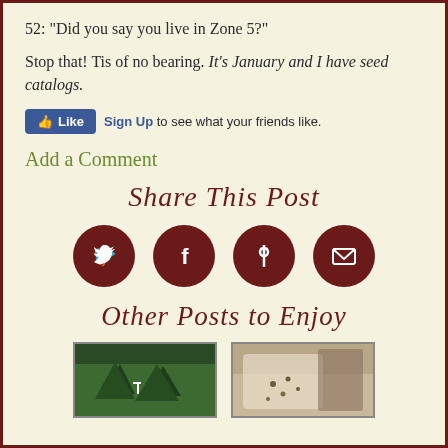52: “Did you say you live in Zone 5?”
Stop that! Tis of no bearing. It’s January and I have seed catalogs.
[Figure (screenshot): Facebook Like button bar with Sign Up link and text 'to see what your friends like.']
Add a Comment
[Figure (illustration): Decorative script text reading 'Share This Post' in dark red cursive font]
[Figure (infographic): Four dark red circular social media icons: Twitter bird, Facebook f, Pinterest p, and email envelope]
[Figure (illustration): Decorative script text reading 'Other Posts to Enjoy' in dark red cursive font]
[Figure (photo): Thumbnail photo of trees/garden with a small sign visible]
[Figure (photo): Thumbnail photo of seeds or grain in burlap/fabric]